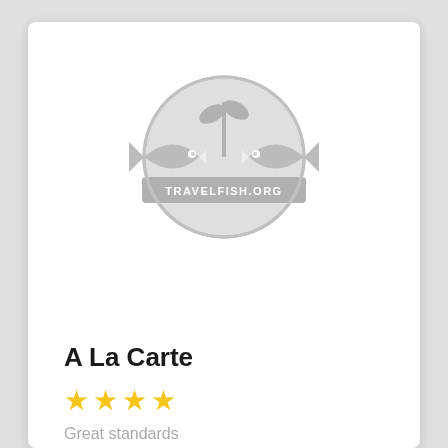[Figure (logo): Travelfish.org circular logo in grey showing two fish facing each other with a plant/globe element, with 'TRAVELFISH.ORG' text banner across the middle]
A La Carte
★★★★ (4 stars)
Great standards